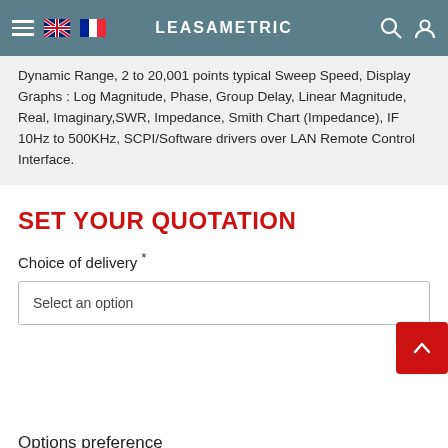LEASAMETRIC
Dynamic Range, 2 to 20,001 points typical Sweep Speed, Display Graphs : Log Magnitude, Phase, Group Delay, Linear Magnitude, Real, Imaginary, SWR, Impedance, Smith Chart (Impedance), IF 10Hz to 500KHz, SCPI/Software drivers over LAN Remote Control Interface.
SET YOUR QUOTATION
Choice of delivery *
Select an option
Options preference